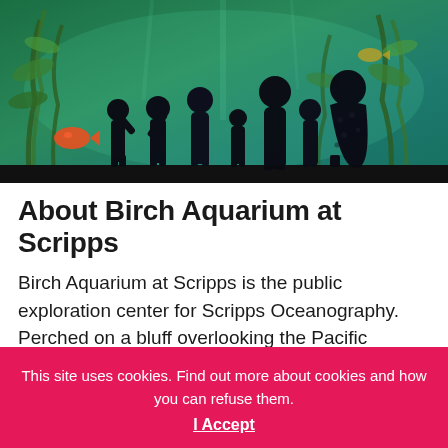[Figure (photo): Silhouettes of children and adults standing in front of a large illuminated aquarium tank filled with fish, kelp, and colorful sea life, viewed from behind against the glowing blue-green water.]
About Birch Aquarium at Scripps
Birch Aquarium at Scripps is the public exploration center for Scripps Oceanography. Perched on a bluff overlooking the Pacific Ocean, Birch Aquarium...
This site uses cookies. Find out more about cookies and how you can refuse them. I Accept